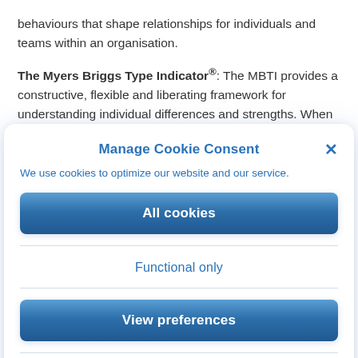behaviours that shape relationships for individuals and teams within an organisation.
The Myers Briggs Type Indicator®: The MBTI provides a constructive, flexible and liberating framework for understanding individual differences and strengths. When you understand your type preferences, you can approach your own work in a manner that best suite your style, including: how you manage your time, problem
Manage Cookie Consent
We use cookies to optimize our website and our service.
All cookies
Functional only
View preferences
Cookie policy